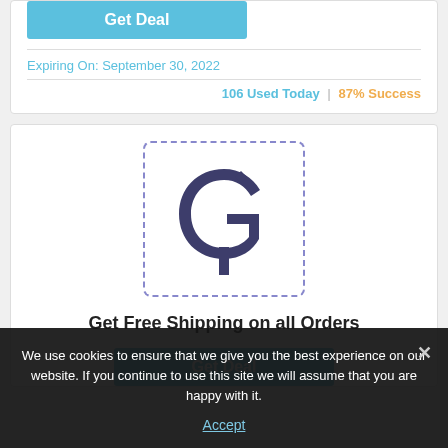Get Deal
Expiring On: September 30, 2022
106 Used Today | 87% Success
[Figure (logo): Circular logo with G and P letters and a diamond dot, dark navy/indigo color, inside a dashed border box]
Get Free Shipping on all Orders
Get Deal
We use cookies to ensure that we give you the best experience on our website. If you continue to use this site we will assume that you are happy with it.
Accept